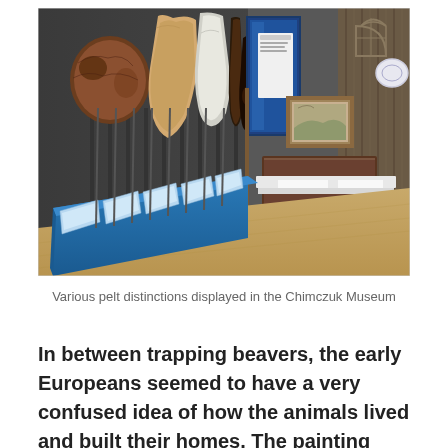[Figure (photo): Interior of the Chimczuk Museum showing various animal pelts mounted on a dark wall, with a blue display counter holding labeled placards. Various furs and hides are mounted on vertical poles. The right side shows a period room with wooden furniture, a framed painting, a decorative plate, and an arched window above.]
Various pelt distinctions displayed in the Chimczuk Museum
In between trapping beavers, the early Europeans seemed to have a very confused idea of how the animals lived and built their homes. The painting below from the time period shows them walking